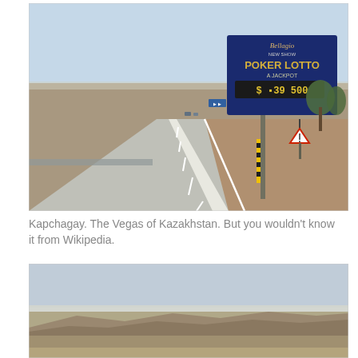[Figure (photo): A wide highway in Kazakhstan with a large billboard advertising 'Bellagio New Show POKER LOTTO & Jackpot $__39 500' on the right side of the road. Road signs visible including a triangular warning sign. Flat arid landscape with sparse trees and a blue sky.]
Kapchagay. The Vegas of Kazakhstan. But you wouldn't know it from Wikipedia.
[Figure (photo): A landscape photo showing a hazy sky and flat arid terrain with low rocky cliffs or escarpments in the distance, likely in Kazakhstan.]